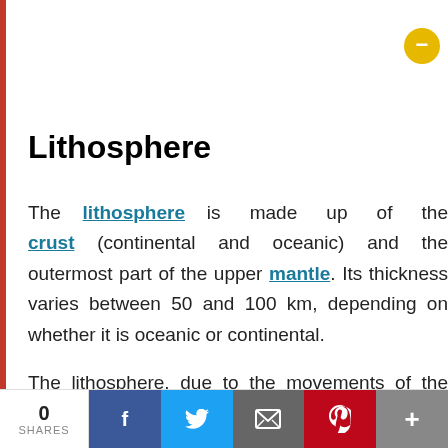Lithosphere
The lithosphere is made up of the crust (continental and oceanic) and the outermost part of the upper mantle. Its thickness varies between 50 and 100 km, depending on whether it is oceanic or continental.
The lithosphere, due to the movements of the sublitospheric mantle, is fragmented
0 SHARES | Facebook | Twitter | Email | Pinterest | More